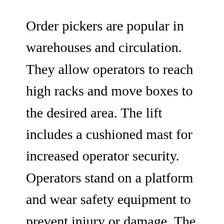Order pickers are popular in warehouses and circulation. They allow operators to reach high racks and move boxes to the desired area. The lift includes a cushioned mast for increased operator security. Operators stand on a platform and wear safety equipment to prevent injury or damage. The order picker will then reduce itself after they have actually chosen all of the product. These devices are perfect for applications where the operator must be at the very same level as stock.